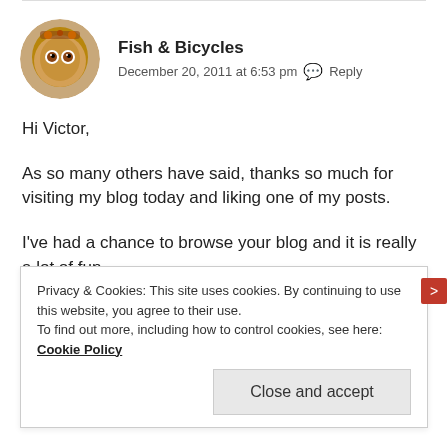[Figure (photo): Circular avatar photo of Fish & Bicycles blog author]
Fish & Bicycles
December 20, 2011 at 6:53 pm  Reply
Hi Victor,
As so many others have said, thanks so much for visiting my blog today and liking one of my posts.
I've had a chance to browse your blog and it is really a lot of fun.
Privacy & Cookies: This site uses cookies. By continuing to use this website, you agree to their use. To find out more, including how to control cookies, see here: Cookie Policy
Close and accept